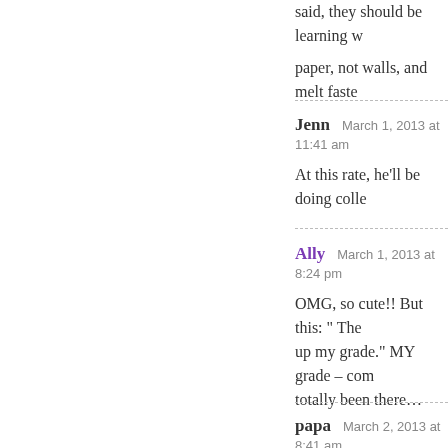said, they should be learning wr paper, not walls, and melt faste
Jenn   March 1, 2013 at 11:41 am
At this rate, he'll be doing colle
Ally   March 1, 2013 at 8:24 pm
OMG, so cute!! But this: " The up my grade." MY grade – com totally been there…
papa   March 2, 2013 at 8:41 am
I never made good grades on sc under the mistaken impression t